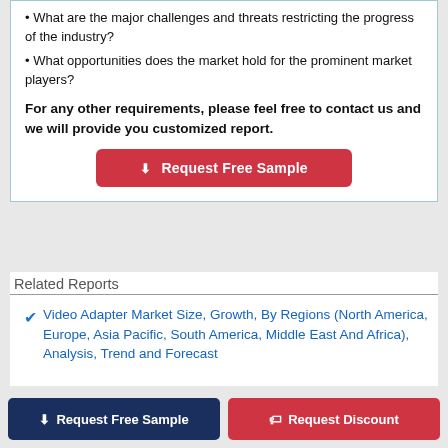• What are the major challenges and threats restricting the progress of the industry?
• What opportunities does the market hold for the prominent market players?
For any other requirements, please feel free to contact us and we will provide you customized report.
[Figure (other): Red button labeled 'Request Free Sample' with download icon]
Related Reports
Video Adapter Market Size, Growth, By Regions (North America, Europe, Asia Pacific, South America, Middle East And Africa), Analysis, Trend and Forecast
[Figure (other): Bottom bar with two buttons: 'Request Free Sample' (navy) and 'Request Discount' (red)]